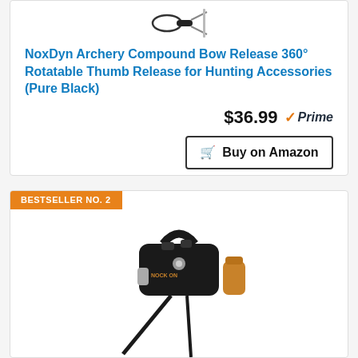[Figure (photo): Product image of NoxDyn Archery Compound Bow Release accessories on white background]
NoxDyn Archery Compound Bow Release 360° Rotatable Thumb Release for Hunting Accessories (Pure Black)
$36.99 Prime
Buy on Amazon
BESTSELLER NO. 2
[Figure (photo): Product image of a back-tension archery release aid with black and gold/bronze components and long rods, displayed on white background]